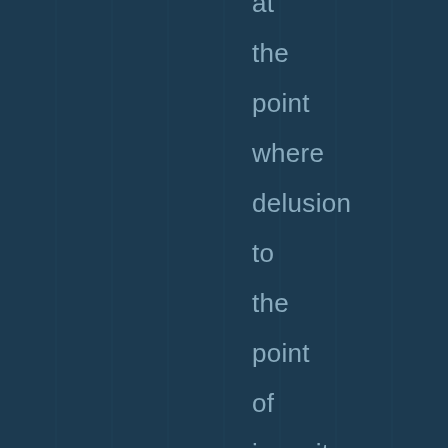at the point where delusion to the point of insanity has become a major factor in US foreign policy.